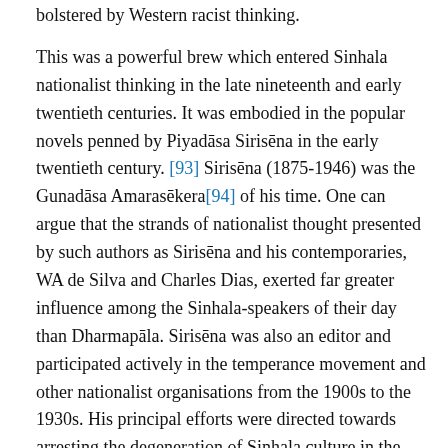bolstered by Western racist thinking.
This was a powerful brew which entered Sinhala nationalist thinking in the late nineteenth and early twentieth centuries. It was embodied in the popular novels penned by Piyadāsa Sirisēna in the early twentieth century. [93] Sirisēna (1875-1946) was the Gunadāsa Amarasēkera[94] of his time. One can argue that the strands of nationalist thought presented by such authors as Sirisēna and his contemporaries, WA de Silva and Charles Dias, exerted far greater influence among the Sinhala-speakers of their day than Dharmapāla. Sirisēna was also an editor and participated actively in the temperance movement and other nationalist organisations from the 1900s to the 1930s. His principal efforts were directed towards arresting the degeneration of Sinhala culture in the face of Westernization.[95]